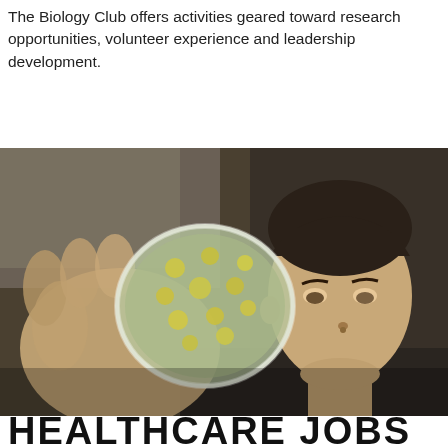The Biology Club offers activities geared toward research opportunities, volunteer experience and leadership development.
[Figure (photo): A young man holds up and examines a petri dish containing bacterial colonies or microorganism cultures, looking at it closely in a biology lab setting.]
HEALTHCARE JOBS